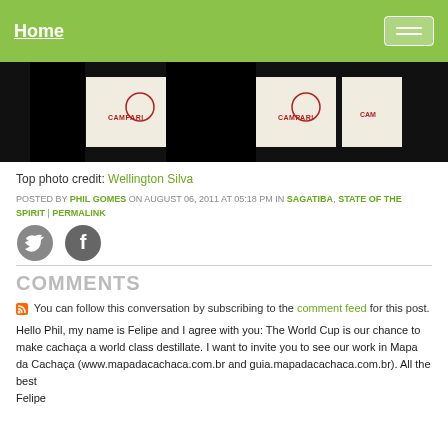Home
[Figure (photo): Photo strip showing people wearing Campari branded t-shirts, cropped at top of page]
Top photo credit: Wellington Silva
POSTED BY PHIL GOMES ON AUGUST 06, 2011 AT 05:18 PM IN SAGATIBA, STATE OF THE SPIRIT | PERMALINK
[Figure (illustration): Twitter and Facebook social share icons]
COMMENTS
You can follow this conversation by subscribing to the comment feed for this post.
Hello Phil, my name is Felipe and I agree with you: The World Cup is our chance to make cachaça a world class destillate. I want to invite you to see our work in Mapa da Cachaça (www.mapadacachaca.com.br and guia.mapadacachaca.com.br). All the best
Felipe